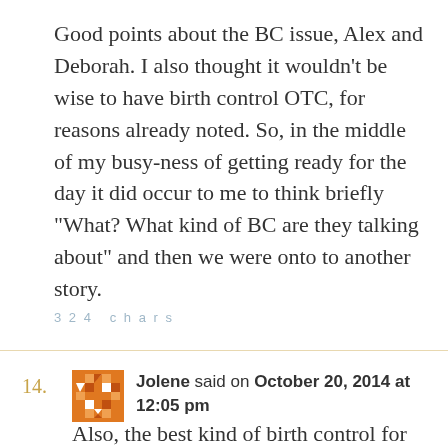Good points about the BC issue, Alex and Deborah. I also thought it wouldn’t be wise to have birth control OTC, for reasons already noted. So, in the middle of my busy-ness of getting ready for the day it did occur to me to think briefly “What? What kind of BC are they talking about” and then we were onto to another story.
324 chars
14.
[Figure (other): Orange avatar/identicon image for user Jolene]
Jolene said on October 20, 2014 at 12:05 pm
Also, the best kind of birth control for the people least prepared to deal with an